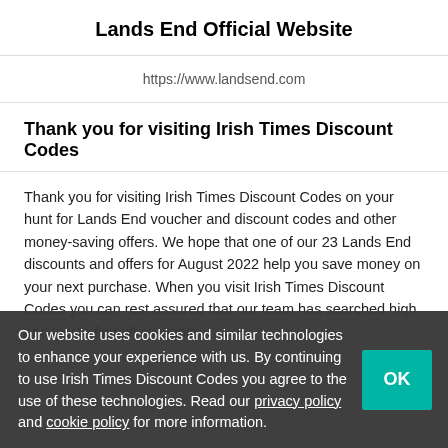Lands End Official Website
https://www.landsend.com
Thank you for visiting Irish Times Discount Codes
Thank you for visiting Irish Times Discount Codes on your hunt for Lands End voucher and discount codes and other money-saving offers. We hope that one of our 23 Lands End discounts and offers for August 2022 help you save money on your next purchase. When you visit Irish Times Discount Codes you can rest assured that our team has searched high and low to find all available
Our website uses cookies and similar technologies to enhance your experience with us. By continuing to use Irish Times Discount Codes you agree to the use of these technologies. Read our privacy policy and cookie policy for more information.